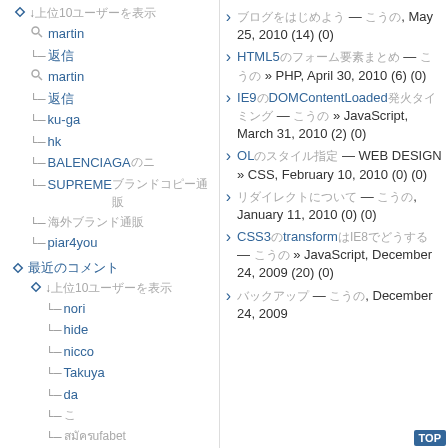↓ 上位10ユーザーを表示
martin (search icon)
返信
martin (search icon)
返信
ku-ga
hk
BALENCIAGAのニ
SUPREMEブランドコピー通販
海外ブランド通販
piar4you
最近のコメント
↓ 上位10ユーザーを表示
nori
hide
nicco
Takuya
da
こ
สมัครufabet
สมัครufabet
ブログをはじめよう — こうの, May 25, 2010 (14) (0)
HTML5のフォーム要素まとめ — こうの » PHP, April 30, 2010 (6) (0)
IE9のDOMContentLoaded発火タイミング — こうの » JavaScript, March 31, 2010 (2) (0)
OLのスタイル指定 — WEB DESIGN » CSS, February 10, 2010 (0) (0)
リダイレクトについて — こうの, January 11, 2010 (0) (0)
CSS3のtransformはIE8でどうする — こうの » JavaScript, December 24, 2009 (20) (0)
バックアップ — こうの, December 24, 2009